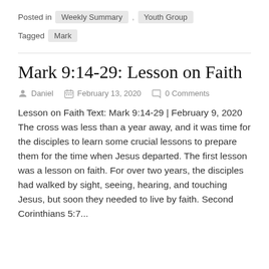Posted in   Weekly Summary  ,  Youth Group
Tagged  Mark
Mark 9:14-29: Lesson on Faith
Daniel   February 13, 2020   0 Comments
Lesson on Faith Text: Mark 9:14-29 | February 9, 2020 The cross was less than a year away, and it was time for the disciples to learn some crucial lessons to prepare them for the time when Jesus departed. The first lesson was a lesson on faith. For over two years, the disciples had walked by sight, seeing, hearing, and touching Jesus, but soon they needed to live by faith. Second Corinthians 5:7...